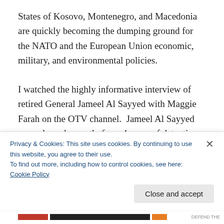States of Kosovo, Montenegro, and Macedonia are quickly becoming the dumping ground for the NATO and the European Union economic, military, and environmental policies.
I watched the highly informative interview of retired General Jameel Al Sayyed with Maggie Farah on the OTV channel.  Jameel Al Sayyed was released recently from 4 years of detention with no formal court cases after the International Tribunal handed his innocence still unclear
Privacy & Cookies: This site uses cookies. By continuing to use this website, you agree to their use.
To find out more, including how to control cookies, see here: Cookie Policy
Close and accept